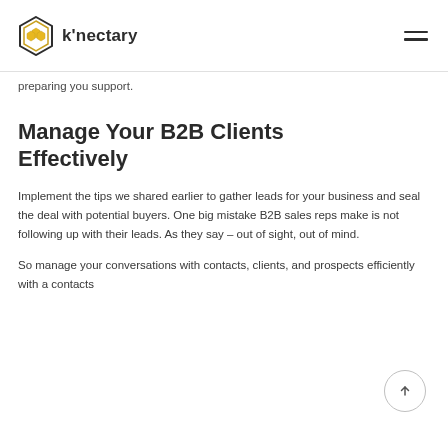k'nectary
… preparing you support.
Manage Your B2B Clients Effectively
Implement the tips we shared earlier to gather leads for your business and seal the deal with potential buyers. One big mistake B2B sales reps make is not following up with their leads. As they say – out of sight, out of mind.
So manage your conversations with contacts, clients, and prospects efficiently with a contacts